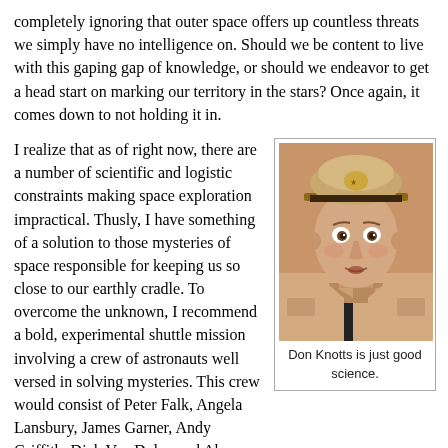completely ignoring that outer space offers up countless threats we simply have no intelligence on. Should we be content to live with this gaping gap of knowledge, or should we endeavor to get a head start on marking our territory in the stars? Once again, it comes down to not holding it in.
I realize that as of right now, there are a number of scientific and logistic constraints making space exploration impractical. Thusly, I have something of a solution to those mysteries of space responsible for keeping us so close to our earthly cradle. To overcome the unknown, I recommend a bold, experimental shuttle mission involving a crew of astronauts well versed in solving mysteries. This crew would consist of Peter Falk, Angela Lansbury, James Garner, Andy Griffith, Dick Van Dyke, and Abe Vigoda. These men, and one lady, are all experienced television
[Figure (photo): Portrait photo of Don Knotts in a police/marshal uniform with a cap, looking surprised or wide-eyed, in a vintage color photograph.]
Don Knotts is just good science.